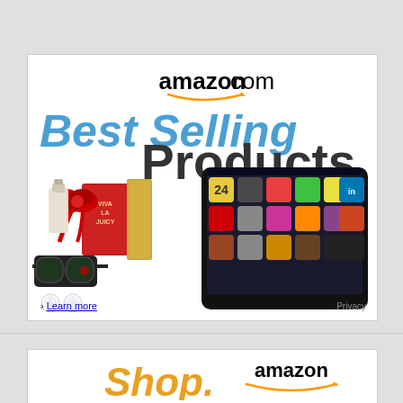[Figure (screenshot): Amazon.com Best Selling Products advertisement banner showing Amazon logo, 'Best Selling Products' text, sunglasses, perfume bottle with bow, diamond earrings, Kindle Fire tablet showing app icons, and a 'Learn more' link with 'Privacy' text.]
[Figure (screenshot): Partial Amazon advertisement banner showing Amazon logo and 'Shop.' text in orange/gold.]